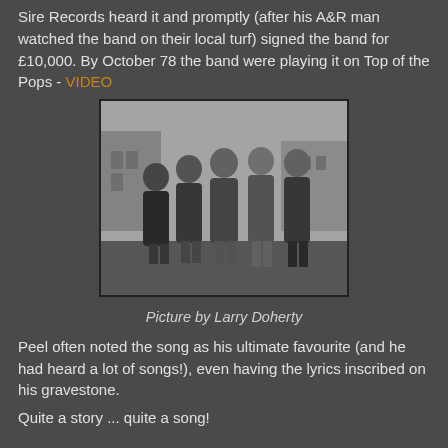Sire Records heard it and promptly (after his A&R man watched the band on their local turf) signed the band for £10,000. By October 78 the band were playing it on Top of the Pops - VIDEO
[Figure (photo): Black and white photograph of five young men posing outdoors in an urban setting, with buildings visible in the background.]
Picture by Larry Doherty
Peel often noted the song as his ultimate favourite (and he had heard a lot of songs!), even having the lyrics inscribed on his gravestone.
Quite a story ... quite a song!